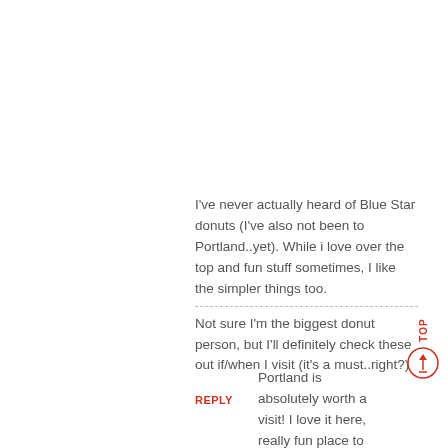I've never actually heard of Blue Star donuts (I've also not been to Portland..yet). While i love over the top and fun stuff sometimes, I like the simpler things too.

Not sure I'm the biggest donut person, but I'll definitely check these out if/when I visit (it's a must..right?)
REPLY
Portland is absolutely worth a visit! I love it here, really fun place to explore. And yes, when you do come, definitely check